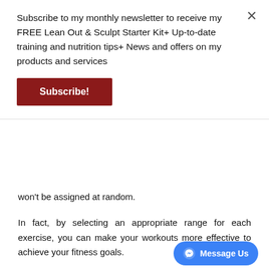Subscribe to my monthly newsletter to receive my FREE Lean Out & Sculpt Starter Kit+ Up-to-date training and nutrition tips+ News and offers on my products and services
Subscribe!
won't be assigned at random.
In fact, by selecting an appropriate range for each exercise, you can make your workouts more effective to achieve your fitness goals.
This article will focus on how to choose the best rep range to maximise muscle growth, but you'll pick up on some fundamental concepts to improve strength and endurance, too.